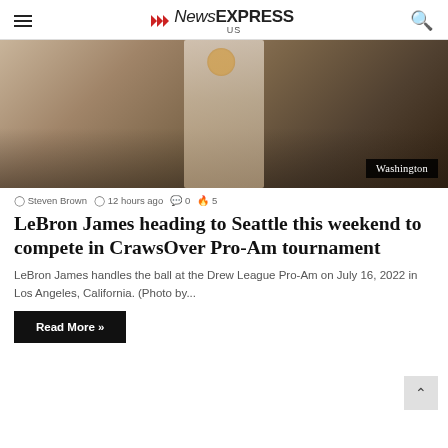NewsEXPRESS
[Figure (photo): Basketball player handling ball at pro-am event, crowd in background. Washington badge overlay at bottom right.]
Steven Brown  12 hours ago  0  5
LeBron James heading to Seattle this weekend to compete in CrawsOver Pro-Am tournament
LeBron James handles the ball at the Drew League Pro-Am on July 16, 2022 in Los Angeles, California. (Photo by...
Read More »